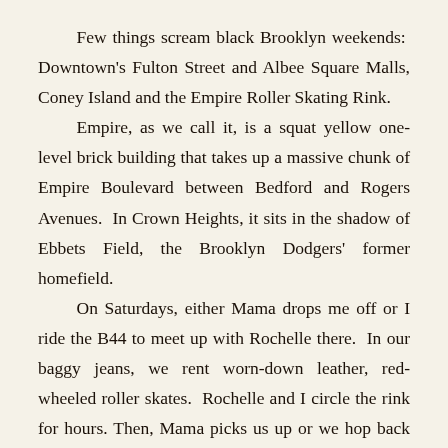Few things scream black Brooklyn weekends: Downtown's Fulton Street and Albee Square Malls, Coney Island and the Empire Roller Skating Rink.
Empire, as we call it, is a squat yellow one-level brick building that takes up a massive chunk of Empire Boulevard between Bedford and Rogers Avenues. In Crown Heights, it sits in the shadow of Ebbets Field, the Brooklyn Dodgers' former homefield.
On Saturdays, either Mama drops me off or I ride the B44 to meet up with Rochelle there. In our baggy jeans, we rent worn-down leather, red-wheeled roller skates. Rochelle and I circle the rink for hours. Then, Mama picks us up or we hop back on the